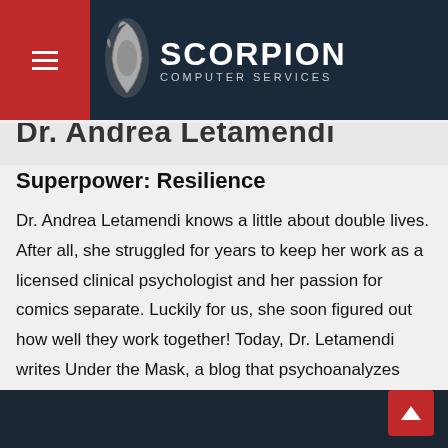Scorpion Computer Services
Dr. Andrea Letamendi
Superpower: Resilience
Dr. Andrea Letamendi knows a little about double lives. After all, she struggled for years to keep her work as a licensed clinical psychologist and her passion for comics separate. Luckily for us, she soon figured out how well they work together! Today, Dr. Letamendi writes Under the Mask, a blog that psychoanalyzes comic characters, in addition to working at a nonprofit mental health agency. She also speaks and writes about how we can learn to